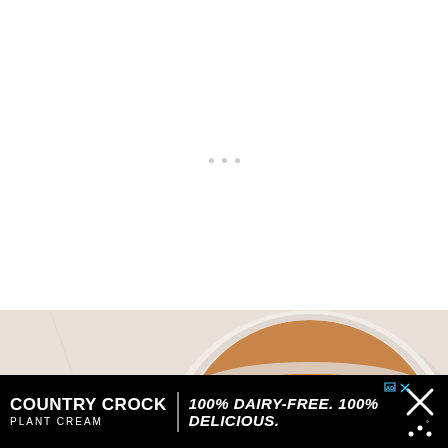[Figure (photo): A white bowl containing swirled caramel and cream mixture, photographed from above on a marble surface, with pieces of bread/crackers visible on the side.]
• • •
[Figure (infographic): Country Crock Plant Cream advertisement banner with black background. Text reads: COUNTRY CROCK PLANT CREAM | 100% DAIRY-FREE. 100% DELICIOUS. with close/dismiss button on right.]